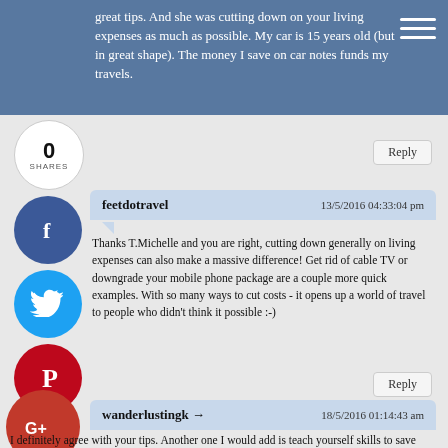great tips. And she was cutting down on your living expenses as much as possible. My car is 15 years old (but in great shape). The money I save on car notes funds my travels.
Reply
feetdotravel    13/5/2016 04:33:04 pm
Thanks T.Michelle and you are right, cutting down generally on living expenses can also make a massive difference! Get rid of cable TV or downgrade your mobile phone package are a couple more quick examples. With so many ways to cut costs - it opens up a world of travel to people who didn't think it possible :-)
Reply
wanderlustingk →    18/5/2016 01:14:43 am
I definitely agree with your tips. Another one I would add is teach yourself skills to save money. I've become quite